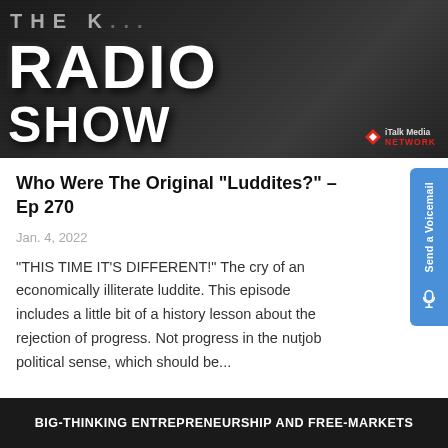[Figure (photo): Black and white banner image showing 'THE K... RADIO SHOW' text in large bold letters with microphone in background, iTalk Media Network logo in bottom right]
Who Were The Original "Luddites?" – Ep 270
Jan. 4, 2022
"THIS TIME IT'S DIFFERENT!" The cry of an economically illiterate luddite. This episode includes a little bit of a history lesson about the rejection of progress. Not progress in the nutjob political sense, which should be...
[Figure (screenshot): Dark banner at bottom reading 'BIG-THINKING ENTREPRENEURSHIP AND FREE-MARKETS']